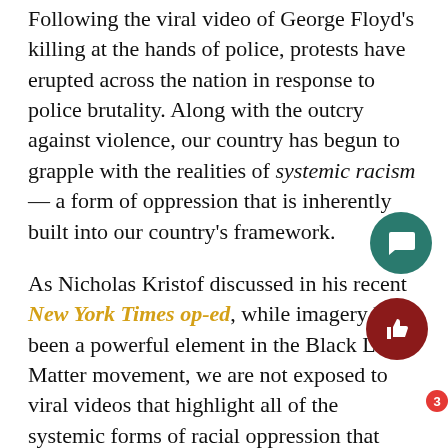Following the viral video of George Floyd's killing at the hands of police, protests have erupted across the nation in response to police brutality. Along with the outcry against violence, our country has begun to grapple with the realities of systemic racism — a form of oppression that is inherently built into our country's framework.
As Nicholas Kristof discussed in his recent New York Times op-ed, while imagery has been a powerful element in the Black Lives Matter movement, we are not exposed to viral videos that highlight all of the systemic forms of racial oppression that plague our society. It takes more cognitive labor to interrogate the fact that Black individuals are dying from COVID-19 at twice the rate as white individuals, for instance.
So, as we begin to grapple with how to address and